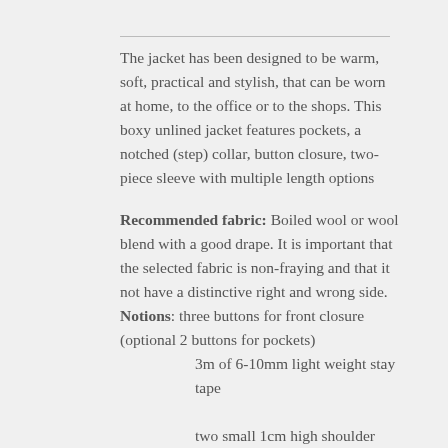The jacket has been designed to be warm, soft, practical and stylish, that can be worn at home, to the office or to the shops. This boxy unlined jacket features pockets, a notched (step) collar, button closure, two-piece sleeve with multiple length options
Recommended fabric: Boiled wool or wool blend with a good drape. It is important that the selected fabric is non-fraying and that it not have a distinctive right and wrong side. Notions: three buttons for front closure (optional 2 buttons for pockets) 3m of 6-10mm light weight stay tape two small 1cm high shoulder pads